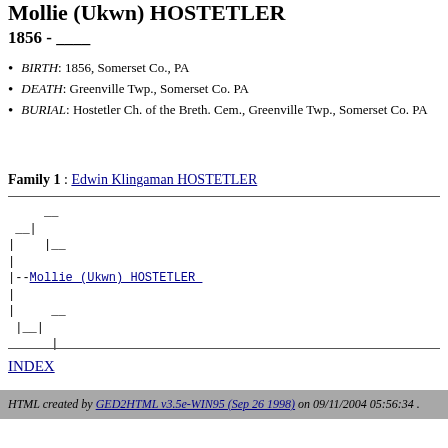Mollie (Ukwn) HOSTETLER
1856 - ____
BIRTH: 1856, Somerset Co., PA
DEATH: Greenville Twp., Somerset Co. PA
BURIAL: Hostetler Ch. of the Breth. Cem., Greenville Twp., Somerset Co. PA
Family 1 : Edwin Klingaman HOSTETLER
|--Mollie (Ukwn) HOSTETLER (ancestor tree diagram)
INDEX
HTML created by GED2HTML v3.5e-WIN95 (Sep 26 1998) on 09/11/2004 05:56:34 .